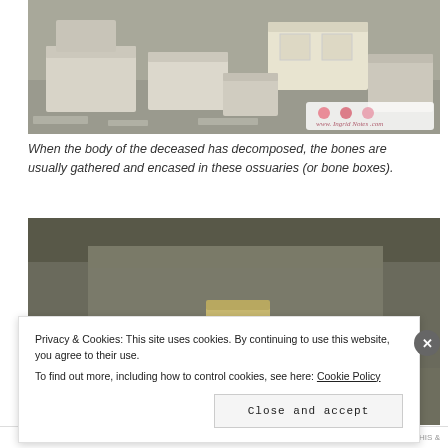[Figure (photo): Multiple white/beige marble ossuary boxes (bone boxes) of various sizes arranged on stone ground outdoors. A small watermark with roses and text 'www.IngridsNotes.com' is visible in the lower right corner.]
When the body of the deceased has decomposed, the bones are usually gathered and encased in these ossuaries (or bone boxes).
[Figure (photo): Interior of a stone tomb or burial chamber showing several ossuary boxes/bone boxes placed on stone shelves and floor, in a cave-like setting with rough stone walls.]
Privacy & Cookies: This site uses cookies. By continuing to use this website, you agree to their use.
To find out more, including how to control cookies, see here: Cookie Policy
Close and accept